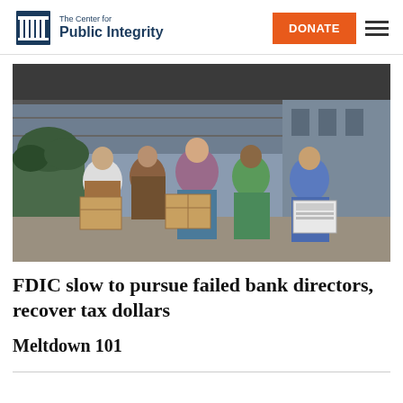The Center for Public Integrity | DONATE
[Figure (photo): Five women walking out of a modern building carrying cardboard boxes, appearing to be exiting an office. Palm trees and vegetation visible in the background.]
FDIC slow to pursue failed bank directors, recover tax dollars
Meltdown 101